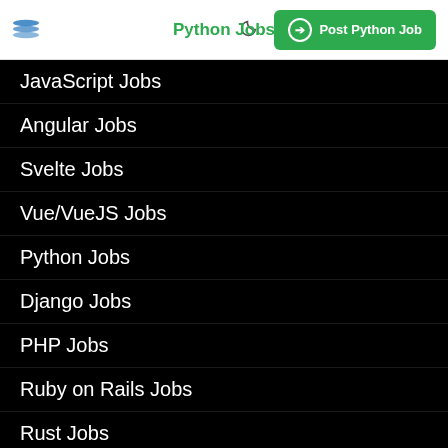Python Jobs | Post Python Job
JavaScript Jobs
Angular Jobs
Svelte Jobs
Vue/VueJS Jobs
Python Jobs
Django Jobs
PHP Jobs
Ruby on Rails Jobs
Rust Jobs
Java Jobs
Developer Job Boards